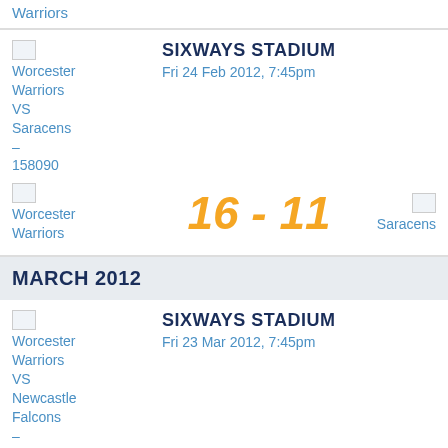Warriors
SIXWAYS STADIUM
Fri 24 Feb 2012, 7:45pm
Worcester Warriors VS Saracens – 158090
16 - 11
Worcester Warriors
Saracens
MARCH 2012
SIXWAYS STADIUM
Fri 23 Mar 2012, 7:45pm
Worcester Warriors VS Newcastle Falcons – 158102